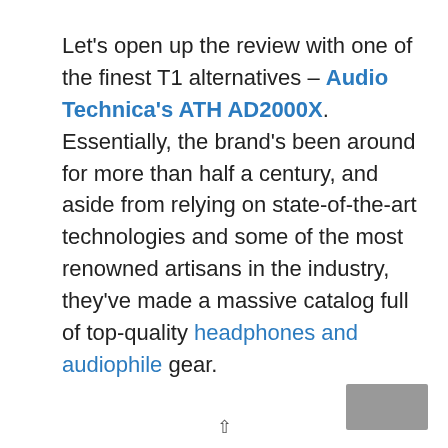Let's open up the review with one of the finest T1 alternatives – Audio Technica's ATH AD2000X. Essentially, the brand's been around for more than half a century, and aside from relying on state-of-the-art technologies and some of the most renowned artisans in the industry, they've made a massive catalog full of top-quality headphones and audiophile gear.